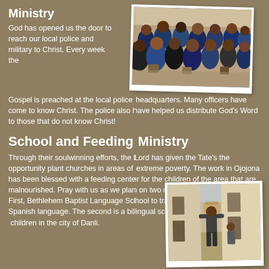Ministry
God has opened us the door to reach our local police and military to Christ. Every week the Gospel is preached at the local police headquarters. Many officers have come to know Christ. The police also have helped us distribute God's Word to those that do not know Christ!
[Figure (photo): Group of people seated in rows, appearing to be at a gathering or meeting, wearing blue and other colored clothing]
School and Feeding Ministry
Through their soulwinning efforts, the Lord has given the Tate's the opportunity plant churches in areas of extreme poverty. The work in Ojojona has been blessed with a feeding center for the children of the area that are malnourished. Pray with us as we plan on two more educational ministries. First, Bethlehem Baptist Language School to train new missionaries the Spanish language. The second is a bilingual school to help educate the children in the city of Danli.
[Figure (photo): Person carrying a cardboard box on their head while walking in an alleyway between buildings]